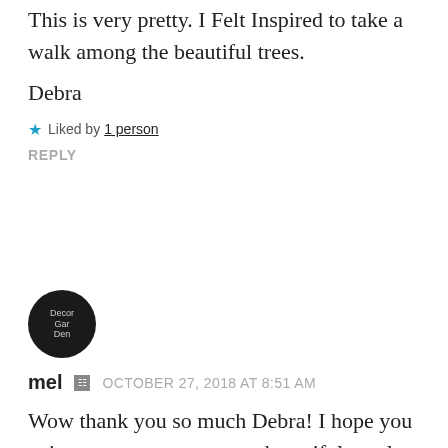This is very pretty. I Felt Inspired to take a walk among the beautiful trees.
Debra
★ Liked by 1 person
REPLY
[Figure (illustration): Circular avatar/logo for DecorGarDen blog, dark background with white text]
mel  OCTOBER 27, 2018 AT 8:51 AM
Wow thank you so much Debra! I hope you enjoy your autumn among beautiful maple trees on this lovely weekend! 🙂